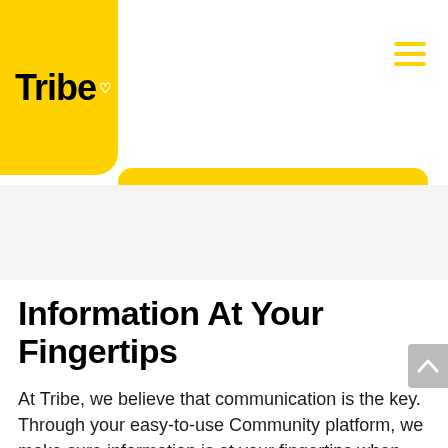[Figure (logo): Tribe logo: bold black text 'Tribe' with a small white heart superscript, on a yellow rounded-corner background block]
[Figure (other): Yellow hamburger menu icon (three horizontal yellow lines) in the top-right corner]
[Figure (other): Yellow rounded rectangular banner strip below the logo block]
Information At Your Fingertips
At Tribe, we believe that communication is the key. Through your easy-to-use Community platform, we make sure information is at your fingertips when you need it.